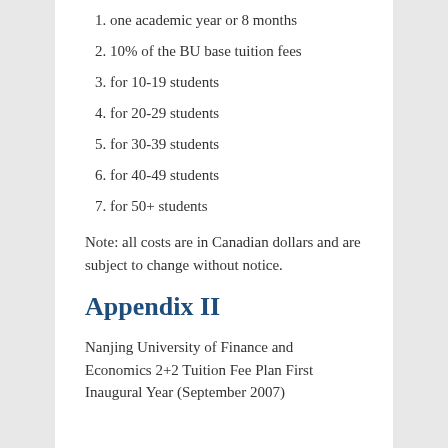1. one academic year or 8 months
2. 10% of the BU base tuition fees
3. for 10-19 students
4. for 20-29 students
5. for 30-39 students
6. for 40-49 students
7. for 50+ students
Note: all costs are in Canadian dollars and are subject to change without notice.
Appendix II
Nanjing University of Finance and Economics 2+2 Tuition Fee Plan First Inaugural Year (September 2007)